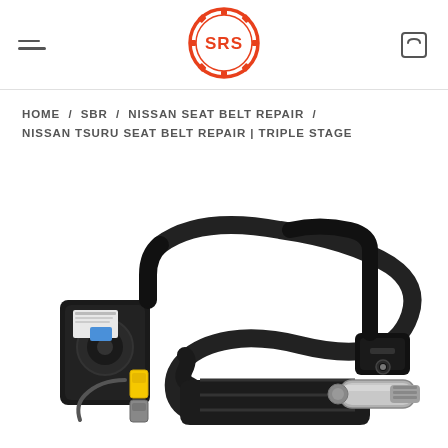SRS logo, hamburger menu, cart icon
HOME / SBR / NISSAN SEAT BELT REPAIR / NISSAN TSURU SEAT BELT REPAIR | TRIPLE STAGE
[Figure (photo): Nissan Tsuru seat belt retractor assembly with black webbing belt, yellow and grey connectors, silver cylindrical pretensioner, and black tongue/buckle shown on white background]